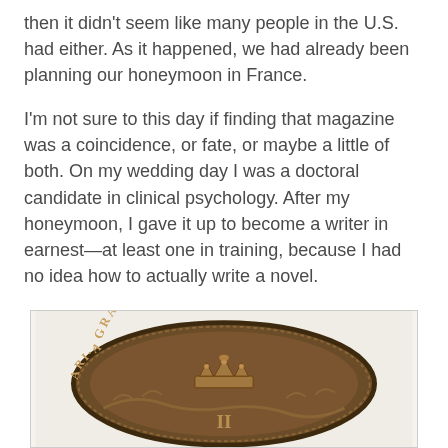then it didn't seem like many people in the U.S. had either. As it happened, we had already been planning our honeymoon in France.
I'm not sure to this day if finding that magazine was a coincidence, or fate, or maybe a little of both. On my wedding day I was a doctoral candidate in clinical psychology. After my honeymoon, I gave it up to become a writer in earnest—at least one in training, because I had no idea how to actually write a novel.
[Figure (photo): A close-up photograph of an old bronze/copper coin showing a crown emblem and partial text reading 'GRATIA' around the rim. The coin appears to be a historical Spanish or European colonial coin with decorative lettering and imagery.]